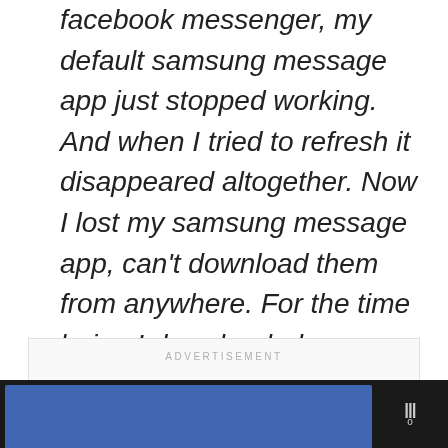facebook messenger, my default samsung message app just stopped working. And when I tried to refresh it disappeared altogether. Now I lost my samsung message app, can't download them from anywhere. For the time being I downloaded a messaging app from the playstore. Please help…
[Figure (other): Advertisement placeholder box with 'ADVERTISEMENT' label and three grey dots below]
[Figure (other): Bottom navigation bar with blue section and Webull-style logo with degree symbol on dark background]